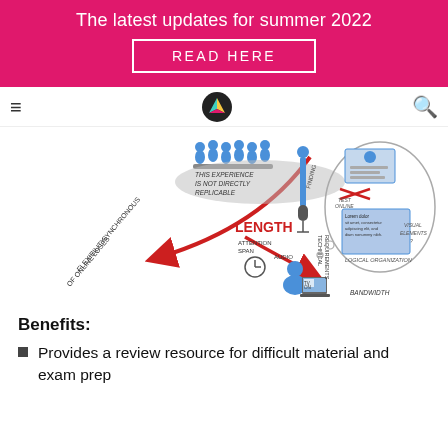The latest updates for summer 2022
READ HERE
[Figure (illustration): Sketchnote illustration showing challenges and considerations for online vs in-person learning: a group of students in a classroom, text saying 'THIS EXPERIENCE IS NOT DIRECTLY REPLICABLE', 'SYNCHRONOUS LOSES FLEXIBILITY OF ONLINE', 'LENGTH', 'ATTENTION SPAN', 'TECHNICAL REQUIREMENTS', 'BANDWIDTH', 'HOW TO BE ENGAGING', 'LOGICAL ORGANIZATION', 'VISUAL ELEMENTS', with red arrows, a microphone, a person at a laptop, and a screen showing a video call.]
Benefits:
Provides a review resource for difficult material and exam prep